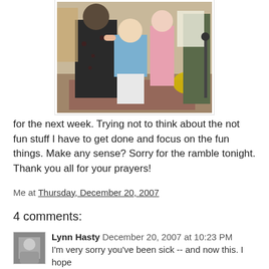[Figure (photo): Black and white photo of people hugging, including a child in blue clothing and white pants, an adult in a dark floral dress, and another person in pink, standing indoors on a patterned rug.]
for the next week. Trying not to think about the not fun stuff I have to get done and focus on the fun things. Make any sense? Sorry for the ramble tonight. Thank you all for your prayers!
Me at Thursday, December 20, 2007
4 comments:
Lynn Hasty  December 20, 2007 at 10:23 PM
I'm very sorry you've been sick -- and now this. I hope